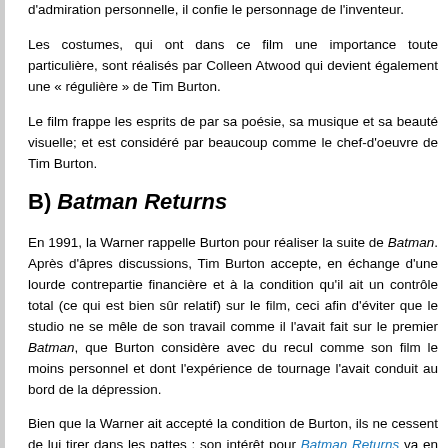d'admiration personnelle, il confie le personnage de l'inventeur.
Les costumes, qui ont dans ce film une importance toute particulière, sont réalisés par Colleen Atwood qui devient également une « régulière » de Tim Burton.
Le film frappe les esprits de par sa poésie, sa musique et sa beauté visuelle; et est considéré par beaucoup comme le chef-d'oeuvre de Tim Burton.
B) Batman Returns
En 1991, la Warner rappelle Burton pour réaliser la suite de Batman. Après d'âpres discussions, Tim Burton accepte, en échange d'une lourde contrepartie financière et à la condition qu'il ait un contrôle total (ce qui est bien sûr relatif) sur le film, ceci afin d'éviter que le studio ne se mêle de son travail comme il l'avait fait sur le premier Batman, que Burton considère avec du recul comme son film le moins personnel et dont l'expérience de tournage l'avait conduit au bord de la dépression.
Bien que la Warner ait accepté la condition de Burton, ils ne cessent de lui tirer dans les pattes : son intérêt pour Batman Returns va en effet de pair avec l'introduction de nouveaux « méchants » : Selina